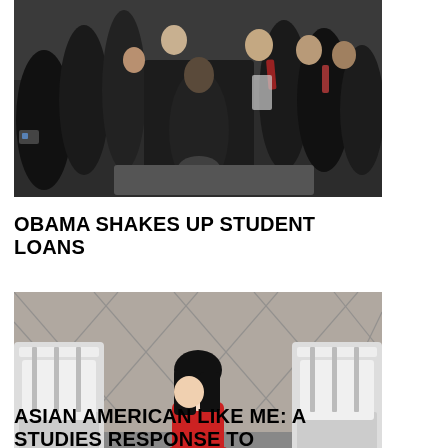[Figure (photo): Group of politicians and officials gathered around a desk, one person seated and signing a document, others standing and watching, formal setting resembling the White House.]
OBAMA SHAKES UP STUDENT LOANS
[Figure (photo): Black and white photo of a young Asian girl with dark hair sitting between two beds in a room with a diamond-pattern tiled wall, wearing a red garment.]
ASIAN AMERICAN LIKE ME: A STUDIES RESPONSE TO